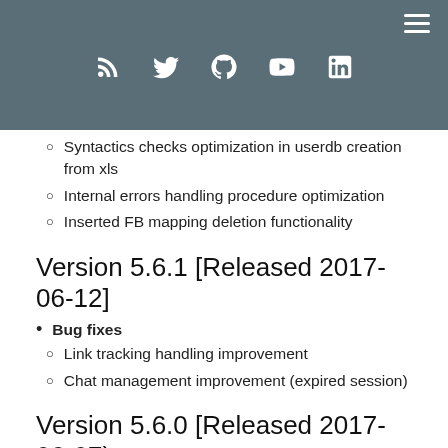Navigation header with social icons (RSS, Twitter, GitHub, YouTube, LinkedIn)
Syntactics checks optimization in userdb creation from xls
Internal errors handling procedure optimization
Inserted FB mapping deletion functionality
Version 5.6.1 [Released 2017-06-12]
Bug fixes
Link tracking handling improvement
Chat management improvement (expired session)
Version 5.6.0 [Released 2017-06-07)